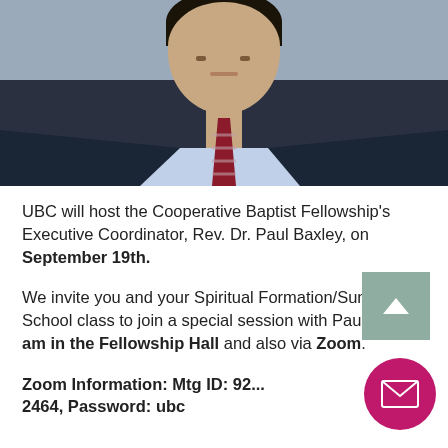[Figure (photo): Photo of a man in a dark suit with a light blue shirt and red/burgundy striped tie, cropped from chest up]
UBC will host the Cooperative Baptist Fellowship's Executive Coordinator, Rev. Dr. Paul Baxley, on September 19th.
We invite you and your Spiritual Formation/Sunday School class to join a special session with Paul at 9:00 am in the Fellowship Hall and also via Zoom.
Zoom Information: Mtg ID: 92... 2464, Password: ubc